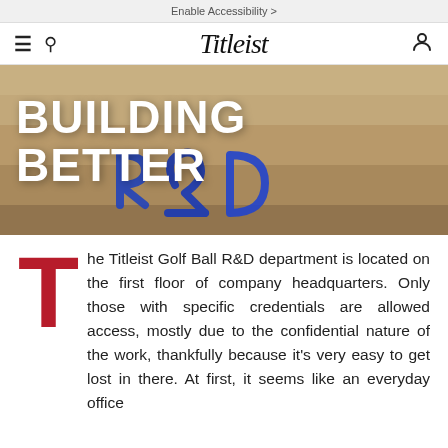Enable Accessibility >
Titleist (logo) with hamburger menu, search, and user icons
[Figure (photo): Hero image showing sandy background with blue rope or yarn letters spelling R&D, overlaid with white bold text 'BUILDING BETTER']
BUILDING BETTER
he Titleist Golf Ball R&D department is located on the first floor of company headquarters. Only those with specific credentials are allowed access, mostly due to the confidential nature of the work, thankfully because it's very easy to get lost in there. At first, it seems like an everyday office